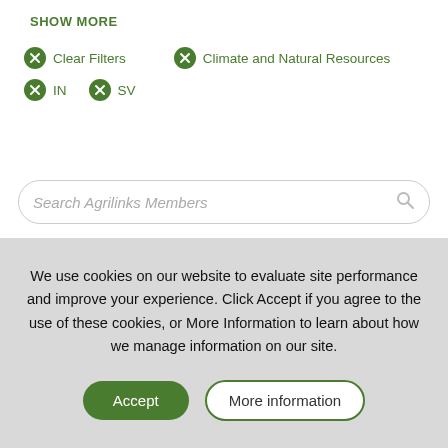SHOW MORE
Clear Filters
Climate and Natural Resources
IN
SV
Search Agrilinks Members
We use cookies on our website to evaluate site performance and improve your experience. Click Accept if you agree to the use of these cookies, or More Information to learn about how we manage information on our site.
Accept
More information